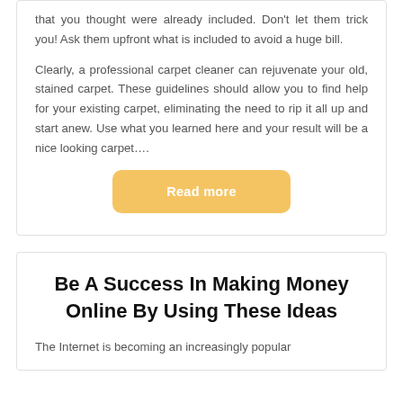that you thought were already included. Don't let them trick you! Ask them upfront what is included to avoid a huge bill.
Clearly, a professional carpet cleaner can rejuvenate your old, stained carpet. These guidelines should allow you to find help for your existing carpet, eliminating the need to rip it all up and start anew. Use what you learned here and your result will be a nice looking carpet….
Read more
Be A Success In Making Money Online By Using These Ideas
The Internet is becoming an increasingly popular